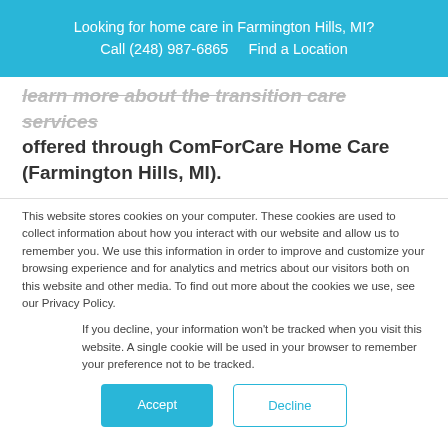Looking for home care in Farmington Hills, MI? Call (248) 987-6865    Find a Location
learn more about the transition care services offered through ComForCare Home Care (Farmington Hills, MI).
This website stores cookies on your computer. These cookies are used to collect information about how you interact with our website and allow us to remember you. We use this information in order to improve and customize your browsing experience and for analytics and metrics about our visitors both on this website and other media. To find out more about the cookies we use, see our Privacy Policy.
If you decline, your information won't be tracked when you visit this website. A single cookie will be used in your browser to remember your preference not to be tracked.
Accept
Decline